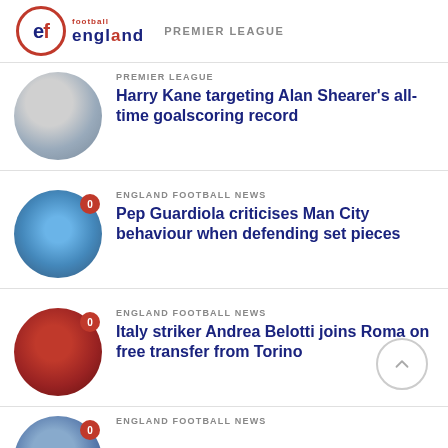england football — PREMIER LEAGUE
Harry Kane targeting Alan Shearer's all-time goalscoring record
ENGLAND FOOTBALL NEWS
Pep Guardiola criticises Man City behaviour when defending set pieces
ENGLAND FOOTBALL NEWS
Italy striker Andrea Belotti joins Roma on free transfer from Torino
ENGLAND FOOTBALL NEWS